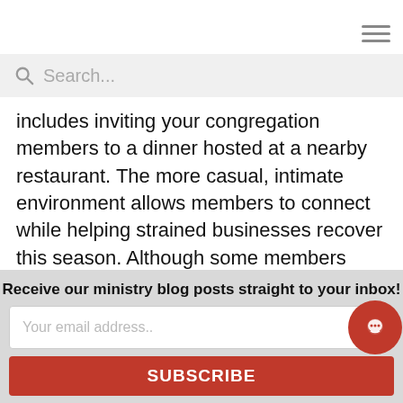Search...
includes inviting your congregation members to a dinner hosted at a nearby restaurant. The more casual, intimate environment allows members to connect while helping strained businesses recover this season. Although some members may not feel comfortable volunteering or meeting in person just yet, many can offer services by bringing food for a canned food drive or by offering donations to a local cause as well.
By offering easy and accessible ways for your congre...
Receive our ministry blog posts straight to your inbox!
Your email address..
SUBSCRIBE